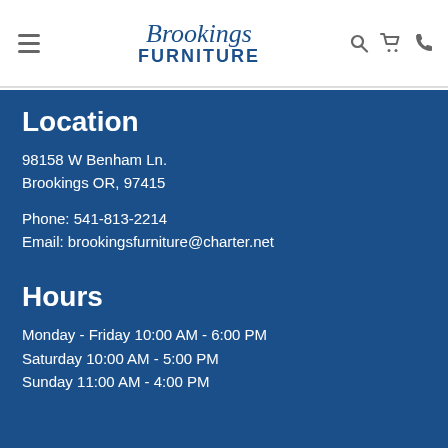Brookings Furniture
Location
98158 W Benham Ln.
Brookings OR, 97415
Phone: 541-813-2214
Email: brookingsfurniture@charter.net
Hours
Monday - Friday 10:00 AM - 6:00 PM
Saturday 10:00 AM - 5:00 PM
Sunday 11:00 AM - 4:00 PM